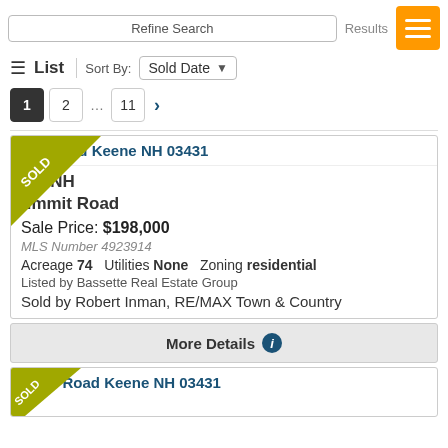Refine Search
Results
≡ List  Sort By: Sold Date
1  2  ...  11  >
▲ t Road Keene NH 03431  SOLD
ne, NH
ummit Road
Sale Price: $198,000
MLS Number 4923914
Acreage 74  Utilities None  Zoning residential
Listed by Bassette Real Estate Group
Sold by Robert Inman, RE/MAX Town & Country
More Details ℹ
▲ ne Road Keene NH 03431  SOLD